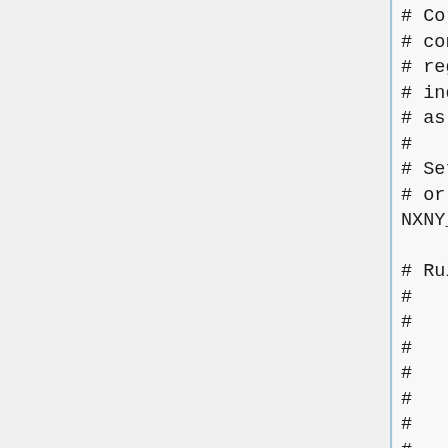# Cores are distributed acros
# configurable parameters NX a
# regions and each of those re
# independent of which node it
# as possible reduces communica
#
# Set NXNY_AUTO to either auto-
# or set them manually (OFF).
NXNY_AUTO=ON

# Rules and tips for setting NX
#    1. NY must be an integer a
#    2. NX*NY must equal total 
#    3. Choose NX and NY to opt
#          Good examples: (NX=4,
#                         (NX=6,
#          Bad examples:  (NX=8,
#                         (NX=12
#    4. Domain decomposition re
#          which puts an upper lim
#          c24: 216 cores    (NX=
#          c48: 864 cores    (NX=
#          c90: 3174 cores   (NX=
#          c180: 12150 cores (NX=
#          c360: 48600 cores (NX=